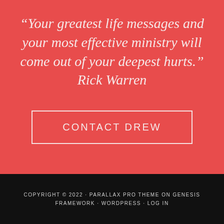“Your greatest life messages and your most effective ministry will come out of your deepest hurts.” Rick Warren
CONTACT DREW
COPYRIGHT © 2022 · PARALLAX PRO THEME ON GENESIS FRAMEWORK · WORDPRESS · LOG IN